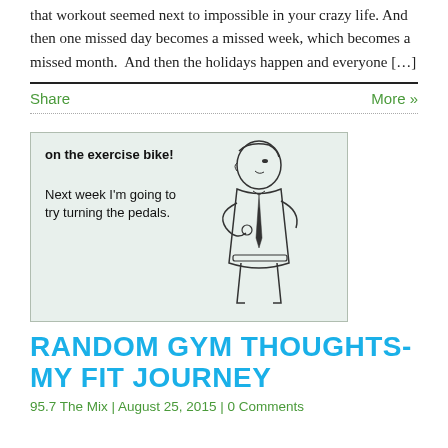that workout seemed next to impossible in your crazy life. And then one missed day becomes a missed week, which becomes a missed month.  And then the holidays happen and everyone […]
Share | More »
[Figure (illustration): Humorous meme image with light green background showing a retro-style illustration of a man in a suit and tie with the text: 'on the exercise bike! Next week I'm going to try turning the pedals.']
RANDOM GYM THOUGHTS- MY FIT JOURNEY
95.7 The Mix | August 25, 2015 | 0 Comments